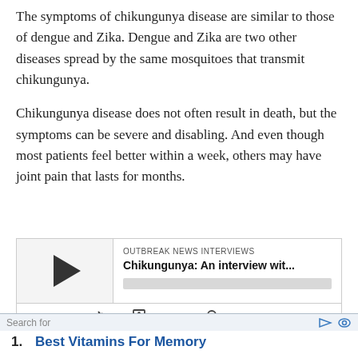The symptoms of chikungunya disease are similar to those of dengue and Zika. Dengue and Zika are two other diseases spread by the same mosquitoes that transmit chikungunya.
Chikungunya disease does not often result in death, but the symptoms can be severe and disabling. And even though most patients feel better within a week, others may have joint pain that lasts for months.
[Figure (other): Audio player widget with play button, title 'Chikungunya: An interview wit...' under label 'OUTBREAK NEWS INTERVIEWS', progress bar, time display '00:00:00', and media control icons.]
1. Best Vitamins For Memory
2. Medicare For Federal Employees